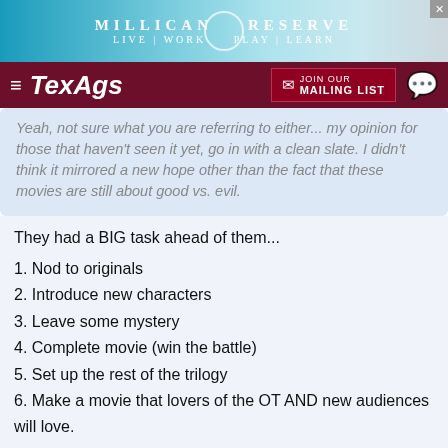[Figure (screenshot): Millican Reserve advertisement banner with teal background and logo]
[Figure (screenshot): TexAgs navigation bar with hamburger menu, logo, mailing list button and chat icon]
Yeah, not sure what you are referring to either... my opinion for those that haven't seen it yet, go in with a clean slate. I didn't think it mirrored a new hope other than the fact that these movies are still about good vs. evil.
They had a BIG task ahead of them...
1. Nod to originals
2. Introduce new characters
3. Leave some mystery
4. Complete movie (win the battle)
5. Set up the rest of the trilogy
6. Make a movie that lovers of the OT AND new audiences will love.
It was a BIG task.
AggieChemist  L  AG   8:13a, 12/18/15
8 hours...